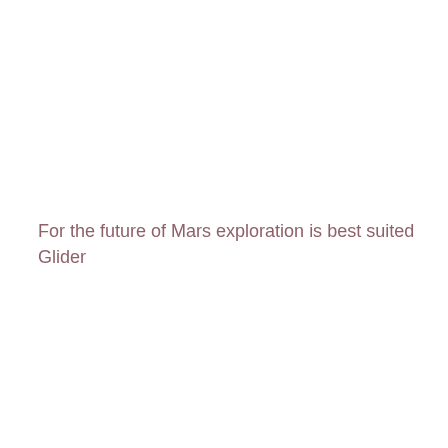For the future of Mars exploration is best suited Glider